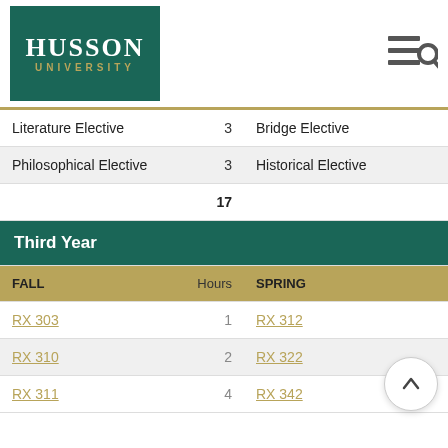Husson University
| FALL | Hours | SPRING |
| --- | --- | --- |
| Literature Elective | 3 | Bridge Elective |
| Philosophical Elective | 3 | Historical Elective |
|  | 17 |  |
Third Year
| FALL | Hours | SPRING |
| --- | --- | --- |
| RX 303 | 1 | RX 312 |
| RX 310 | 2 | RX 322 |
| RX 311 | 4 | RX 342 |